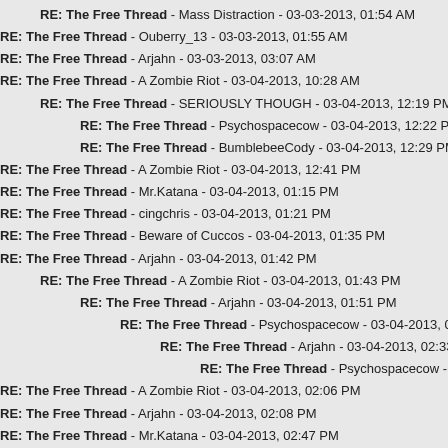RE: The Free Thread - Mass Distraction - 03-03-2013, 01:54 AM
RE: The Free Thread - Ouberry_13 - 03-03-2013, 01:55 AM
RE: The Free Thread - Arjahn - 03-03-2013, 03:07 AM
RE: The Free Thread - A Zombie Riot - 03-04-2013, 10:28 AM
RE: The Free Thread - SERIOUSLY THOUGH - 03-04-2013, 12:19 PM
RE: The Free Thread - Psychospacecow - 03-04-2013, 12:22 PM
RE: The Free Thread - BumblebeeCody - 03-04-2013, 12:29 PM
RE: The Free Thread - A Zombie Riot - 03-04-2013, 12:41 PM
RE: The Free Thread - Mr.Katana - 03-04-2013, 01:15 PM
RE: The Free Thread - cingchris - 03-04-2013, 01:21 PM
RE: The Free Thread - Beware of Cuccos - 03-04-2013, 01:35 PM
RE: The Free Thread - Arjahn - 03-04-2013, 01:42 PM
RE: The Free Thread - A Zombie Riot - 03-04-2013, 01:43 PM
RE: The Free Thread - Arjahn - 03-04-2013, 01:51 PM
RE: The Free Thread - Psychospacecow - 03-04-2013, 02:26 PM
RE: The Free Thread - Arjahn - 03-04-2013, 02:33 PM
RE: The Free Thread - Psychospacecow - 03-04-2013, 02:43 PM
RE: The Free Thread - A Zombie Riot - 03-04-2013, 02:06 PM
RE: The Free Thread - Arjahn - 03-04-2013, 02:08 PM
RE: The Free Thread - Mr.Katana - 03-04-2013, 02:47 PM
RE: The Free Thread - Psychospacecow - 03-06-2013, 01:55 PM
RE: The Free Thread - SERIOUSLY THOUGH - 03-07-2013, 07:18 AM
RE: The Free Thread - A Zombie Riot - 03-07-2013, 07:46 AM
RE: The Free Thread - retrolinkx - 03-07-2013, 08:05 AM